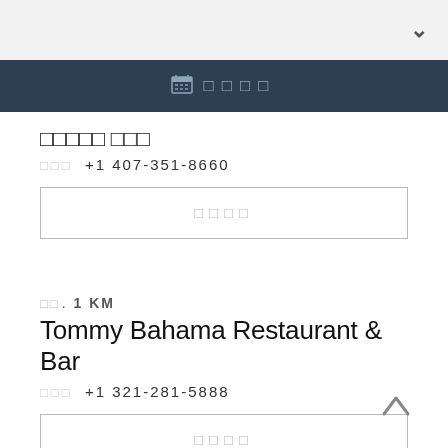✓ (chevron down)
📅 □□□□
□□□ □□□
□□□ +1 407-351-8660
□□□□ (button)
□□. 1 KM
Tommy Bahama Restaurant & Bar
□□□ +1 321-281-5888
□□□□ (button)
□□. 2.1 KM